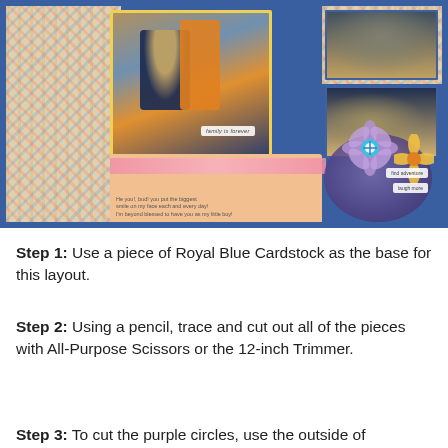[Figure (photo): Scrapbook layout featuring photos of a mother and child, with Royal Blue Cardstock base, plaid patterned paper, peach background, pink lace strip, purple circle embellishment, flower decorations, and handwritten journaling. Labels read 'family is forever', 'find adventure', 'laugh more'.]
Step 1: Use a piece of Royal Blue Cardstock as the base for this layout.
Step 2: Using a pencil, trace and cut out all of the pieces with All-Purpose Scissors or the 12-inch Trimmer.
Step 3: To cut the purple circles, use the outside of